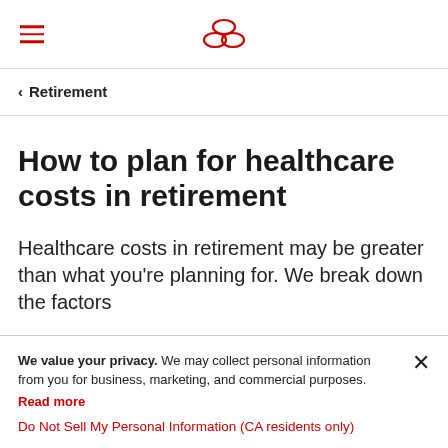Retirement
How to plan for healthcare costs in retirement
Healthcare costs in retirement may be greater than what you're planning for. We break down the factors
We value your privacy. We may collect personal information from you for business, marketing, and commercial purposes. Read more
Do Not Sell My Personal Information (CA residents only)